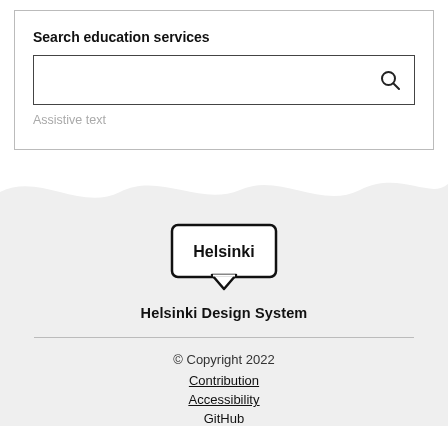Search education services
[Figure (screenshot): Search input box with a magnifying glass icon on the right]
Assistive text
[Figure (logo): Helsinki city logo - shield/badge shape with Helsinki text inside]
Helsinki Design System
© Copyright 2022
Contribution
Accessibility
GitHub